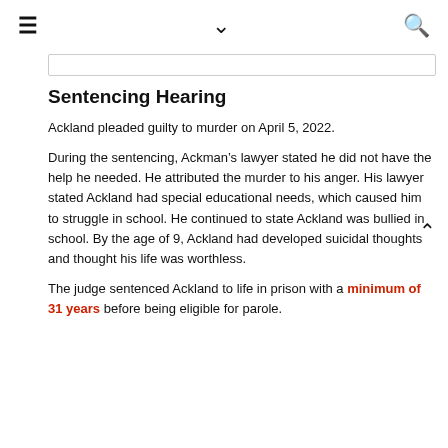≡  ∨  🔍
Sentencing Hearing
Ackland pleaded guilty to murder on April 5, 2022.
During the sentencing, Ackman's lawyer stated he did not have the help he needed. He attributed the murder to his anger. His lawyer stated Ackland had special educational needs, which caused him to struggle in school. He continued to state Ackland was bullied in school. By the age of 9, Ackland had developed suicidal thoughts and thought his life was worthless.
The judge sentenced Ackland to life in prison with a minimum of 31 years before being eligible for parole.